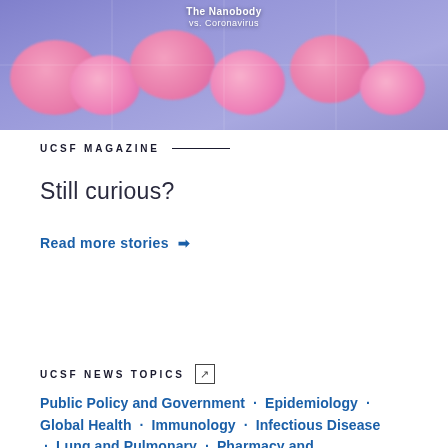[Figure (illustration): Illustrated scene showing pink blob-like coronavirus particles on a purple/blue tiled floor with text overlay 'The Nanobody vs. Coronavirus']
UCSF MAGAZINE
Still curious?
Read more stories →
UCSF NEWS TOPICS
Public Policy and Government · Epidemiology · Global Health · Immunology · Infectious Disease · Lung and Pulmonary · Pharmacy and Pharmacology · Public Health